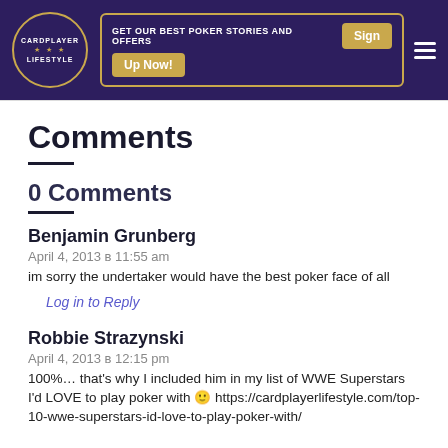CARDPLAYER LIFESTYLE — GET OUR BEST POKER STORIES AND OFFERS Sign Up Now!
Comments
0 Comments
Benjamin Grunberg
April 4, 2013 в 11:55 am
im sorry the undertaker would have the best poker face of all
Log in to Reply
Robbie Strazynski
April 4, 2013 в 12:15 pm
100%… that's why I included him in my list of WWE Superstars I'd LOVE to play poker with 🙂 https://cardplayerlifestyle.com/top-10-wwe-superstars-id-love-to-play-poker-with/